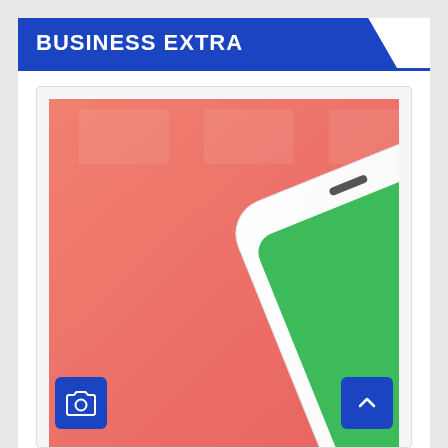BUSINESS EXTRA
[Figure (photo): A white smartphone lying at an angle on a salmon/coral pink background, displaying a green WhatsApp-style icon on its screen. The phone is viewed from above at an isometric angle.]